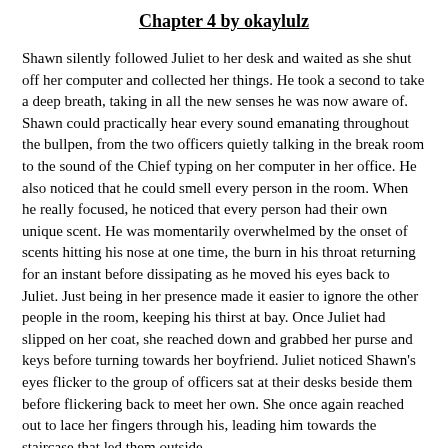Chapter 4 by okaylulz
Shawn silently followed Juliet to her desk and waited as she shut off her computer and collected her things. He took a second to take a deep breath, taking in all the new senses he was now aware of. Shawn could practically hear every sound emanating throughout the bullpen, from the two officers quietly talking in the break room to the sound of the Chief typing on her computer in her office. He also noticed that he could smell every person in the room. When he really focused, he noticed that every person had their own unique scent. He was momentarily overwhelmed by the onset of scents hitting his nose at one time, the burn in his throat returning for an instant before dissipating as he moved his eyes back to Juliet. Just being in her presence made it easier to ignore the other people in the room, keeping his thirst at bay. Once Juliet had slipped on her coat, she reached down and grabbed her purse and keys before turning towards her boyfriend. Juliet noticed Shawn’s eyes flicker to the group of officers sat at their desks beside them before flickering back to meet her own. She once again reached out to lace her fingers through his, leading him towards the staircase that led them outside.
Once they were settled in her car, Juliet pulled out of the station parking lot and began to drive towards the apartment they shared ten minutes away. “Im sorry about all of this Jules. I never meant